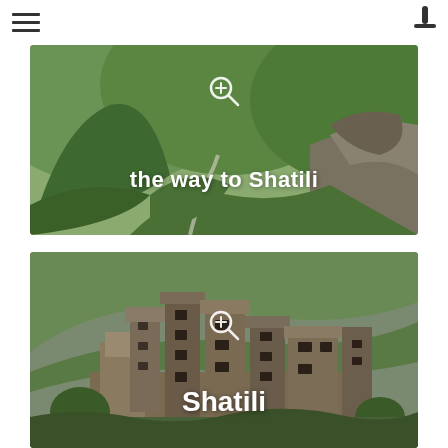[Figure (photo): Green mountain valley with winding river path leading to Shatili, with text overlay 'the way to Shatili']
[Figure (photo): Ancient stone fortress village of Shatili with multi-story tower houses, with text overlay 'Shatili']